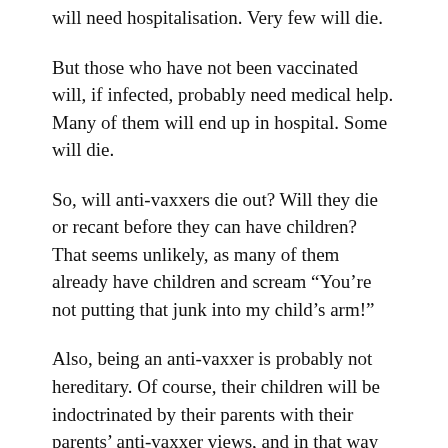will need hospitalisation. Very few will die.
But those who have not been vaccinated will, if infected, probably need medical help. Many of them will end up in hospital. Some will die.
So, will anti-vaxxers die out? Will they die or recant before they can have children? That seems unlikely, as many of them already have children and scream “You’re not putting that junk into my child’s arm!”
Also, being an anti-vaxxer is probably not hereditary. Of course, their children will be indoctrinated by their parents with their parents’ anti-vaxxer views, and in that way the